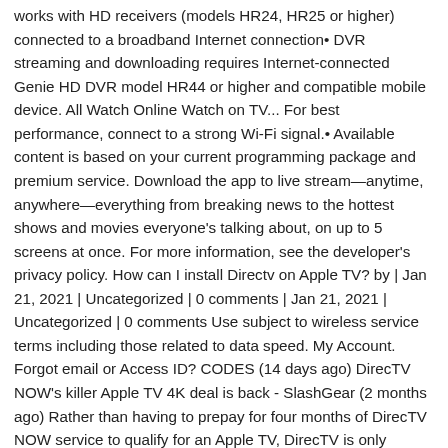works with HD receivers (models HR24, HR25 or higher) connected to a broadband Internet connection• DVR streaming and downloading requires Internet-connected Genie HD DVR model HR44 or higher and compatible mobile device. All Watch Online Watch on TV... For best performance, connect to a strong Wi-Fi signal.• Available content is based on your current programming package and premium service. Download the app to live stream—anytime, anywhere—everything from breaking news to the hottest shows and movies everyone's talking about, on up to 5 screens at once. For more information, see the developer's privacy policy. How can I install Directv on Apple TV? by | Jan 21, 2021 | Uncategorized | 0 comments | Jan 21, 2021 | Uncategorized | 0 comments Use subject to wireless service terms including those related to data speed. My Account. Forgot email or Access ID? CODES (14 days ago) DirecTV NOW's killer Apple TV 4K deal is back - SlashGear (2 months ago) Rather than having to prepay for four months of DirecTV NOW service to qualify for an Apple TV, DirecTV is only asking for three months prepaid service. It seems that AT&T...